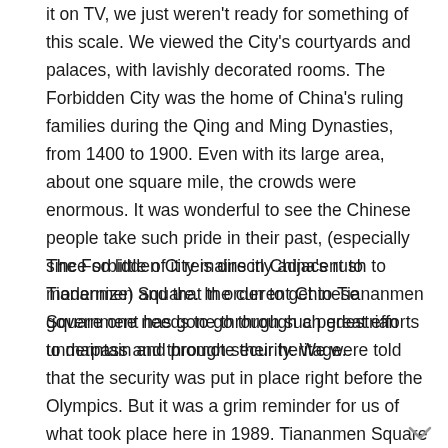it on TV, we just weren't ready for something of this scale. We viewed the City's courtyards and palaces, with lavishly decorated rooms. The Forbidden City was the home of China's ruling families during the Qing and Ming Dynasties, from 1400 to 1900. Even with its large area, about one square mile, the crowds were enormous. It was wonderful to see the Chinese people take such pride in their past, (especially since so little of it remains in China's rush to modernize) and that the current Chinese government has gone through such great efforts to maintain and promote their heritage.
The Forbidden City is directly adjacent to Tiananmen Square. In order to get to Tiananmen Square one needs to go through a pedestrian underpass and through security. We were told that the security was put in place right before the Olympics. But it was a grim reminder for us of what took place here in 1989. Tiananmen Square itself is huge, and surprisingly bleak and stark. On one side there is a decidedly Soviet looking Monument to the "People's Heroes." But other than that, there are no trees, fountains, greenspace, nor other